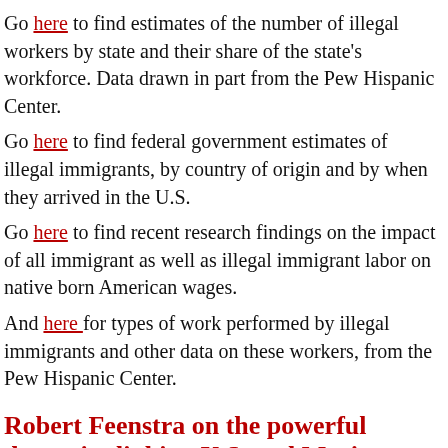Go here to find estimates of the number of illegal workers by state and their share of the state's workforce. Data drawn in part from the Pew Hispanic Center.
Go here to find federal government estimates of illegal immigrants, by country of origin and by when they arrived in the U.S.
Go here to find recent research findings on the impact of all immigrant as well as illegal immigrant labor on native born American wages.
And here for types of work performed by illegal immigrants and other data on these workers, from the Pew Hispanic Center.
Robert Feenstra on the powerful dynamics linking U.S. and Mexican